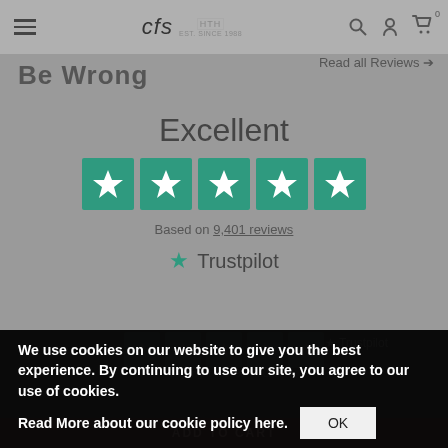cfs HTH EST. SINCE 1988 [navigation icons] 0
Be Wrong
Read all Reviews →
Excellent
[Figure (other): Five green Trustpilot star rating boxes]
Based on 9,401 reviews
[Figure (logo): Trustpilot logo with green star]
We use cookies on our website to give you the best experience. By continuing to use our site, you agree to our use of cookies.
Read More about our cookie policy here.
Copyright © 1998 – 2022
ADD TO CART